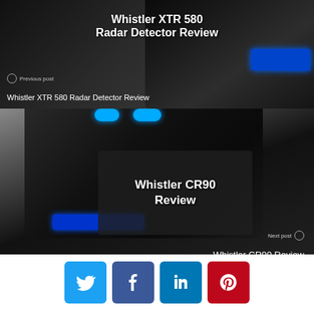[Figure (photo): Previous post banner showing Whistler XTR 580 Radar Detector with white bold title overlay and Previous post navigation label]
Previous post
Whistler XTR 580 Radar Detector Review
[Figure (photo): Next post banner showing Whistler CR90 radar detector device from above with dark overlay box containing bold white title 'Whistler CR90 Review' and Next post navigation label]
Next post
Whistler CR90 Review
[Figure (infographic): Social media share buttons: Twitter (blue bird), Facebook (dark blue f), LinkedIn (blue in), Pinterest (red P)]